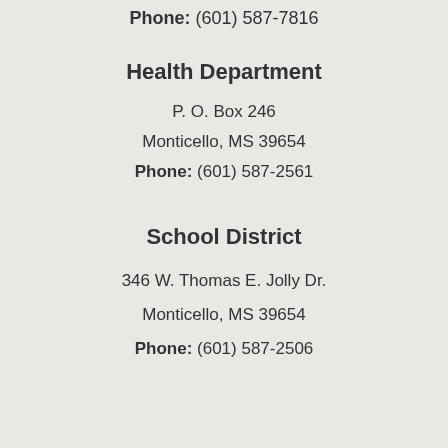Phone: (601) 587-7816
Health Department
P. O. Box 246
Monticello, MS 39654
Phone: (601) 587-2561
School District
346 W. Thomas E. Jolly Dr.
Monticello, MS 39654
Phone: (601) 587-2506